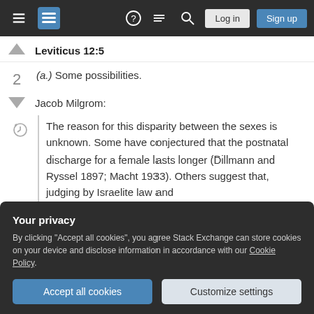[Figure (screenshot): Stack Exchange navigation bar with hamburger menu, logo, help icon, chat icon, search icon, Login and Sign up buttons]
Leviticus 12:5
(a.) Some possibilities.
Jacob Milgrom:
The reason for this disparity between the sexes is unknown. Some have conjectured that the postnatal discharge for a female lasts longer (Dillmann and Ryssel 1897; Macht 1933). Others suggest that, judging by Israelite law and
brought into "sacred" Eden on the forty-first
Your privacy
By clicking "Accept all cookies", you agree Stack Exchange can store cookies on your device and disclose information in accordance with our Cookie Policy.
Accept all cookies
Customize settings